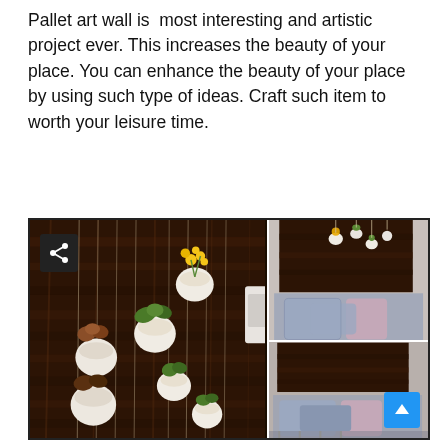Pallet art wall is most interesting and artistic project ever. This increases the beauty of your place. You can enhance the beauty of your place by using such type of ideas. Craft such item to worth your leisure time.
[Figure (photo): Two photos of a pallet wood wall art installation with hanging mason jar planters containing various plants and flowers. Left image shows a close-up of the dark wood pallet wall with multiple white mason jars hanging by strings with plants including yellow flowers and succulents. Right side shows two smaller photos: top shows the pallet wall in a balcony setting with a blue floral cushioned bench below, bottom shows a similar balcony view.]